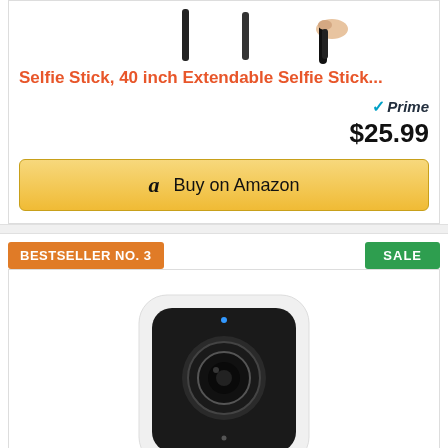[Figure (photo): Selfie sticks product image, showing two black upright selfie sticks and one held in a hand]
Selfie Stick, 40 inch Extendable Selfie Stick...
[Figure (logo): Amazon Prime badge with checkmark and 'Prime' text]
$25.99
Buy on Amazon
BESTSELLER NO. 3
SALE
[Figure (photo): Small white square security camera with black lens on a white stand/mount]